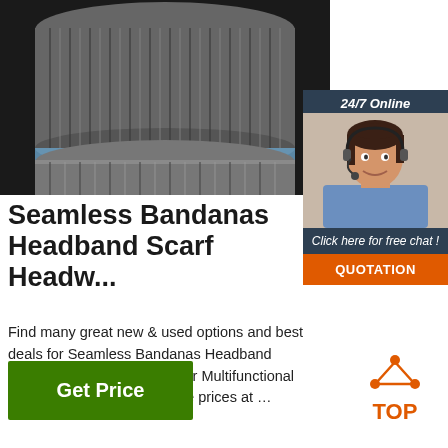[Figure (photo): Stacked rolls of gray/silver pleated fabric bandanas/headbands]
[Figure (infographic): 24/7 Online chat widget with customer service representative photo, 'Click here for free chat!' text, and orange QUOTATION button]
Seamless Bandanas Headband Scarf Headw...
Find many great new & used options and best deals for Seamless Bandanas Headband Scarf Headwrap Neckwarmer Multifunctional for Music F at the best online prices at ...
Get Price
[Figure (logo): Orange TOP badge with triangular arrow icon]